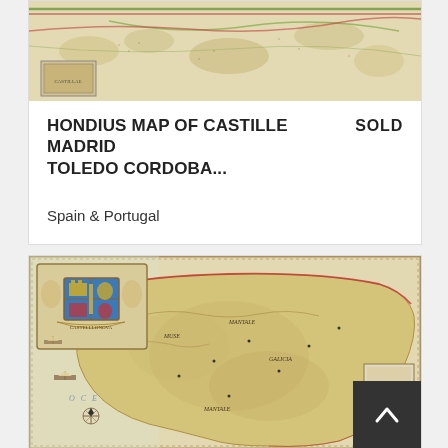[Figure (map): Top portion of an antique hand-colored map of Castille, Madrid, Toledo, Cordoba region of Spain]
HONDIUS MAP OF CASTILLE MADRID TOLEDO CORDOBA...
SOLD
Spain & Portugal
[Figure (map): Antique hand-colored map showing the Iberian Peninsula including Spain and Portugal, with decorative cartouche featuring coat of arms with angels, compass rose, ships in the ocean, and red border outlines. Text includes CANTABRICO OCEANUS and OCEANUS labels.]